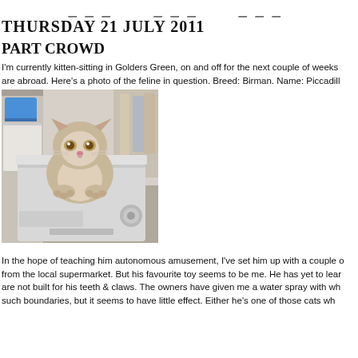≡ ≡ ≡
THURSDAY 21 JULY 2011
PART CROWD
I'm currently kitten-sitting in Golders Green, on and off for the next couple of weeks are abroad. Here's a photo of the feline in question. Breed: Birman. Name: Piccadill
[Figure (photo): A Birman cat sitting on top of a white washing machine (Hotpoint brand), in a utility room with shelving, blue tub, and hanging clothes in the background.]
In the hope of teaching him autonomous amusement, I've set him up with a couple of from the local supermarket. But his favourite toy seems to be me. He has yet to lear are not built for his teeth & claws. The owners have given me a water spray with wh such boundaries, but it seems to have little effect. Either he's one of those cats wh